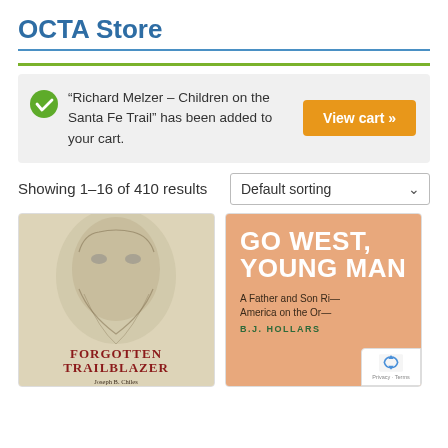OCTA Store
“Richard Melzer – Children on the Santa Fe Trail” has been added to your cart.
View cart »
Showing 1–16 of 410 results
Default sorting
[Figure (illustration): Book cover: Forgotten Trailblazer - Joseph B. Chiles and the Making of California. Shows a pencil sketch portrait of an elderly man.]
[Figure (illustration): Book cover: Go West, Young Man - A Father and Son [trip] America on the Or[egon Trail] by B.J. Hollars. Orange background with large white bold text.]